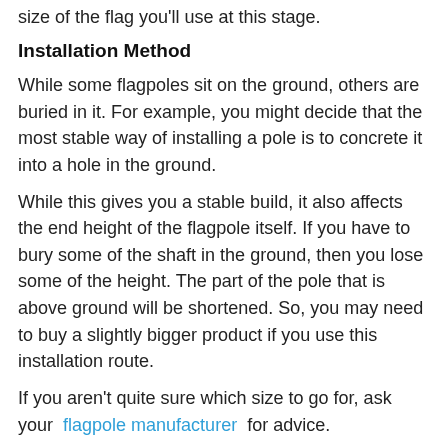size of the flag you'll use at this stage.
Installation Method
While some flagpoles sit on the ground, others are buried in it. For example, you might decide that the most stable way of installing a pole is to concrete it into a hole in the ground.
While this gives you a stable build, it also affects the end height of the flagpole itself. If you have to bury some of the shaft in the ground, then you lose some of the height. The part of the pole that is above ground will be shortened. So, you may need to buy a slightly bigger product if you use this installation route.
If you aren't quite sure which size to go for, ask your flagpole manufacturer for advice.
Share